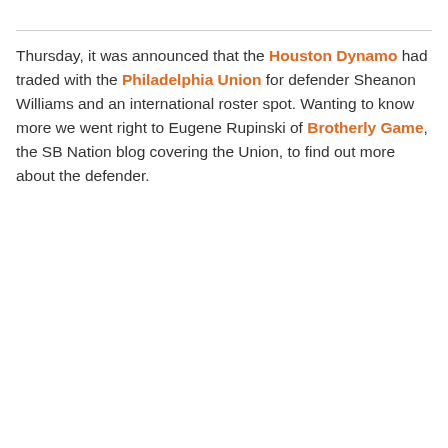Thursday, it was announced that the Houston Dynamo had traded with the Philadelphia Union for defender Sheanon Williams and an international roster spot. Wanting to know more we went right to Eugene Rupinski of Brotherly Game, the SB Nation blog covering the Union, to find out more about the defender.